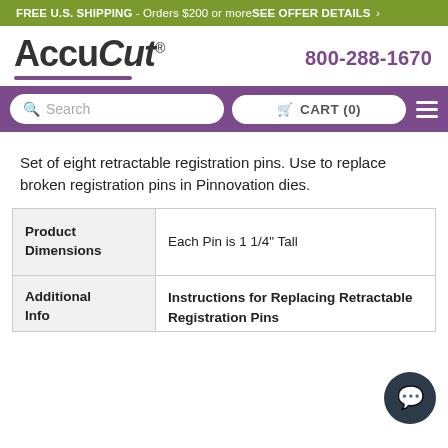FREE U.S. SHIPPING - Orders $200 or more SEE OFFER DETAILS >
[Figure (logo): AccuCut logo with stylized bold text and purple underline]
800-288-1670
Search   CART (0)
Set of eight retractable registration pins. Use to replace broken registration pins in Pinnovation dies.
| Product Dimensions | Each Pin is 1 1/4" Tall |
| --- | --- |
| Additional Info | Instructions for Replacing Retractable Registration Pins |